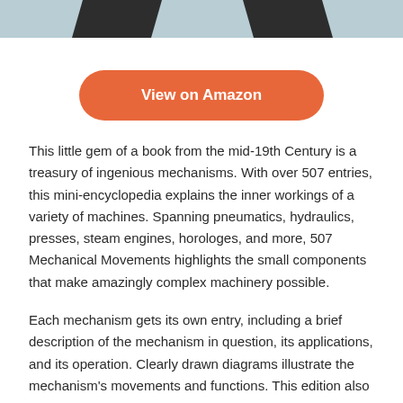[Figure (illustration): Top portion of a book cover image with mechanical/engineering drawing on a light blue-gray background, with dark trapezoid shapes visible at the top]
View on Amazon
This little gem of a book from the mid-19th Century is a treasury of ingenious mechanisms. With over 507 entries, this mini-encyclopedia explains the inner workings of a variety of machines. Spanning pneumatics, hydraulics, presses, steam engines, horologes, and more, 507 Mechanical Movements highlights the small components that make amazingly complex machinery possible.
Each mechanism gets its own entry, including a brief description of the mechanism in question, its applications, and its operation. Clearly drawn diagrams illustrate the mechanism's movements and functions. This edition also